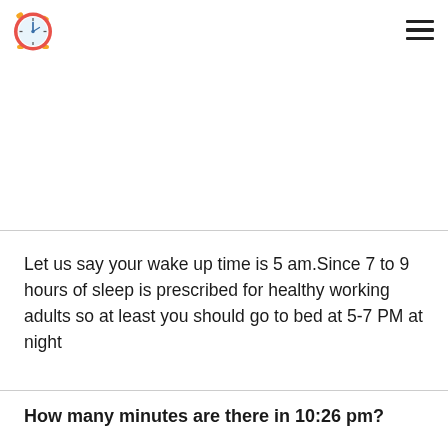[alarm clock logo] [hamburger menu]
Let us say your wake up time is 5 am.Since 7 to 9 hours of sleep is prescribed for healthy working adults so at least you should go to bed at 5-7 PM at night
How many minutes are there in 10:26 pm?